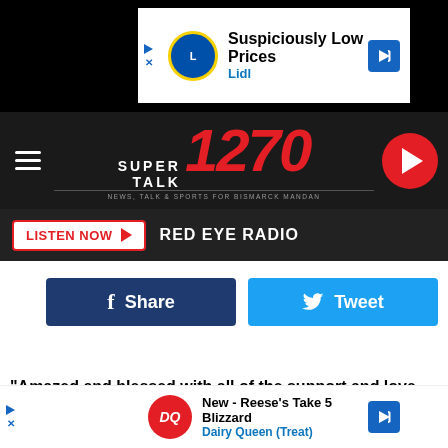[Figure (screenshot): Lidl advertisement banner: 'Suspiciously Low Prices' with Lidl logo and navigation arrow]
[Figure (logo): Super Talk 1270 radio station header logo with hamburger menu and play button]
LISTEN NOW  RED EYE RADIO
Share
Tweet
"Amazed and blessed with all of the support and love from our co
[Figure (screenshot): Dairy Queen advertisement: 'New - Reese's Take 5 Blizzard' with DQ logo]